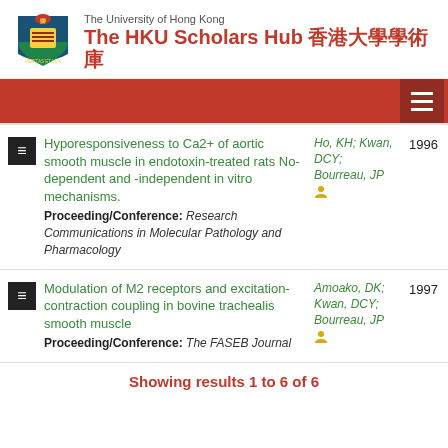[Figure (logo): HKU crest/logo with lion and shield, University of Hong Kong official logo]
The HKU Scholars Hub 香港大學學術庫
Hyporesponsiveness to Ca2+ of aortic smooth muscle in endotoxin-treated rats No-dependent and -independent in vitro mechanisms. Proceeding/Conference: Research Communications in Molecular Pathology and Pharmacology — Ho, KH; Kwan, DCY; Bourreau, JP — 1996
Modulation of M2 receptors and excitation-contraction coupling in bovine trachealis smooth muscle Proceeding/Conference: The FASEB Journal — Amoako, DK; Kwan, DCY; Bourreau, JP — 1997
Showing results 1 to 6 of 6